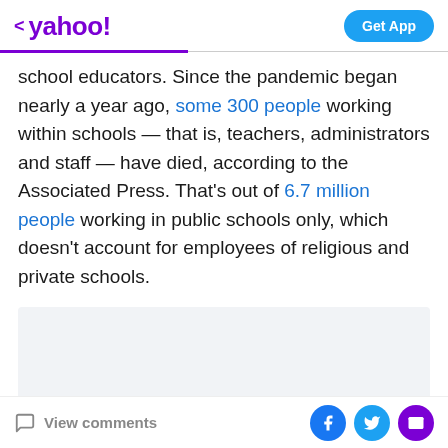< yahoo! | Get App
school educators. Since the pandemic began nearly a year ago, some 300 people working within schools — that is, teachers, administrators and staff — have died, according to the Associated Press. That's out of 6.7 million people working in public schools only, which doesn't account for employees of religious and private schools.
[Figure (other): Advertisement placeholder box]
View comments | Facebook | Twitter | Email share icons